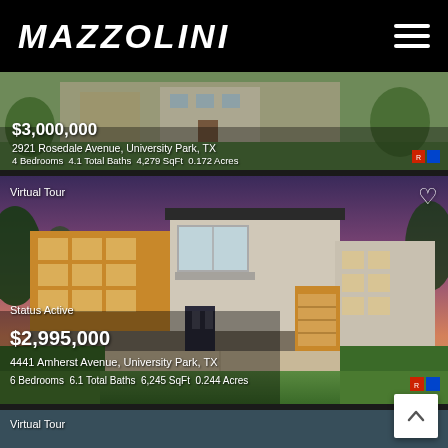MAZZOLINI
[Figure (photo): Partial view of first property listing - house exterior with green lawn]
$3,000,000
2921 Rosedale Avenue, University Park, TX
4 Bedrooms  4.1 Total Baths  4,279 SqFt  0.172 Acres
[Figure (photo): Modern two-story house with wood and stone exterior, photographed at dusk with purple sky. Virtual Tour badge in top left, heart icon top right.]
Virtual Tour
Status Active
$2,995,000
4441 Amherst Avenue, University Park, TX
6 Bedrooms  6.1 Total Baths  6,245 SqFt  0.244 Acres
[Figure (photo): Partially visible third property listing - Virtual Tour label visible]
Virtual Tour